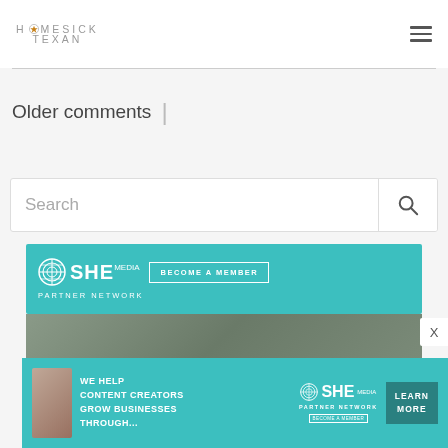HOMESICK TEXAN
Older comments
[Figure (screenshot): Search bar with placeholder text 'Search' and a magnifying glass icon button]
[Figure (infographic): SHE Media Partner Network advertisement banner - teal background with 'BECOME A MEMBER' button]
[Figure (infographic): SHE Media bottom advertisement - 'WE HELP CONTENT CREATORS GROW BUSINESSES THROUGH...' with LEARN MORE button]